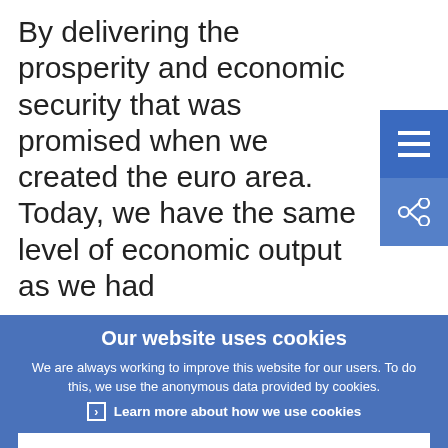By delivering the prosperity and economic security that was promised when we created the euro area. Today, we have the same level of economic output as we had
Our website uses cookies
We are always working to improve this website for our users. To do this, we use the anonymous data provided by cookies.
Learn more about how we use cookies
I understand and I accept the use of cookies
I do not accept the use of cookies